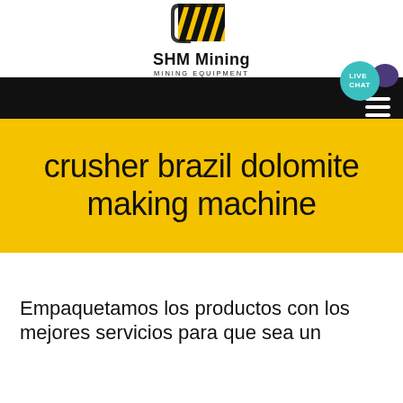[Figure (logo): SHM Mining logo with yellow and black striped icon, company name 'SHM Mining' and subtitle 'MINING EQUIPMENT']
crusher brazil dolomite making machine
Empaquetamos los productos con los mejores servicios para que sea un